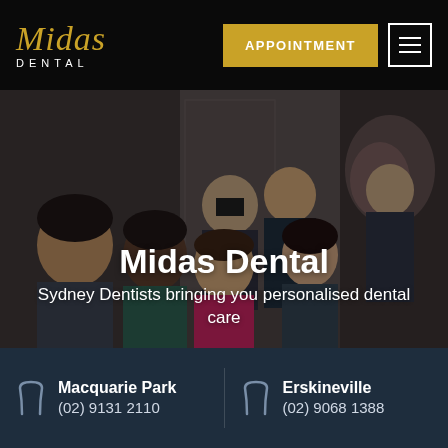[Figure (logo): Midas Dental logo with gold italic script 'Midas' and white 'DENTAL' text below, on black background]
[Figure (screenshot): Yellow APPOINTMENT button and hamburger menu icon in white border on black header background]
[Figure (photo): Group photo of Midas Dental team members (7+ people) in professional attire inside a dental clinic, with dark overlay]
Midas Dental
Sydney Dentists bringing you personalised dental care
Macquarie Park (02) 9131 2110
Erskineville (02) 9068 1388